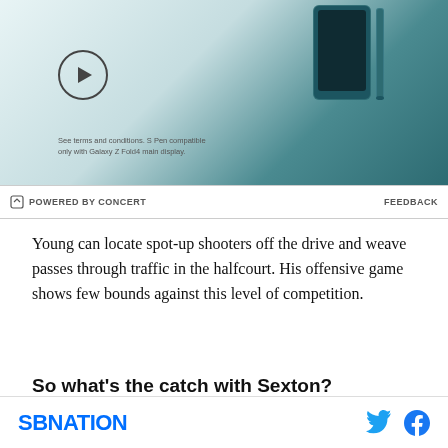[Figure (screenshot): Advertisement banner with teal/dark gradient background showing a Samsung Galaxy Z Fold4 phone with S Pen. A circular play button is on the left side. Fine print reads: 'See terms and conditions. S Pen compatible only with Galaxy Z Fold4 main display.']
POWERED BY CONCERT   FEEDBACK
Young can locate spot-up shooters off the drive and weave passes through traffic in the halfcourt. His offensive game shows few bounds against this level of competition.
So what’s the catch with Sexton?
As great as is he as a scorer, there is the question of what else he can do at the next level. He averages 3.4 assists and 3.5 rebounds, which is fine, but far from
SBNATION